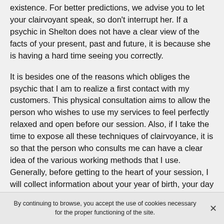existence. For better predictions, we advise you to let your clairvoyant speak, so don't interrupt her. If a psychic in Shelton does not have a clear view of the facts of your present, past and future, it is because she is having a hard time seeing you correctly.
It is besides one of the reasons which obliges the psychic that I am to realize a first contact with my customers. This physical consultation aims to allow the person who wishes to use my services to feel perfectly relaxed and open before our session. Also, if I take the time to expose all these techniques of clairvoyance, it is so that the person who consults me can have a clear idea of the various working methods that I use. Generally, before getting to the heart of your session, I will collect information about your year of birth, your day of birth, the place of the appointment and the time of the consultation.
By continuing to browse, you accept the use of cookies necessary for the proper functioning of the site.